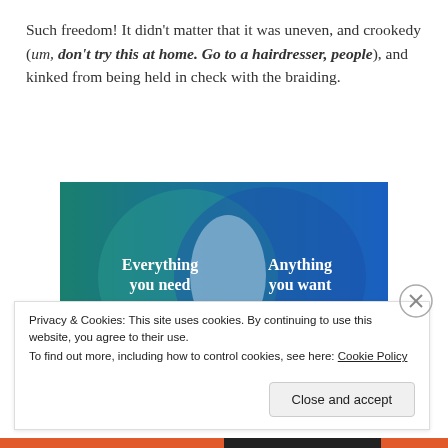Such freedom! It didn't matter that it was uneven, and crookedy (um, don't try this at home. Go to a hairdresser, people), and kinked from being held in check with the braiding.
[Figure (infographic): Venn diagram style image with teal/green left side showing 'Everything you need' and blue right side showing 'Anything you want', overlapping circles on blue/teal gradient background]
Privacy & Cookies: This site uses cookies. By continuing to use this website, you agree to their use.
To find out more, including how to control cookies, see here: Cookie Policy